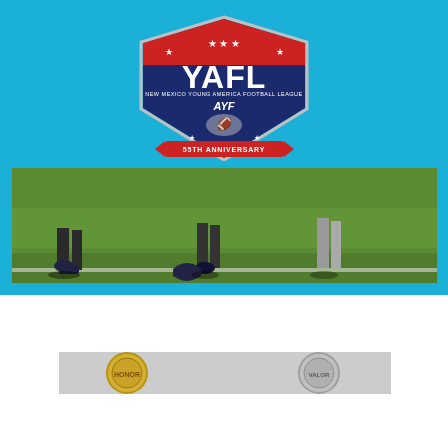[Figure (logo): YAFL - New Mexico Young America Football League shield logo with AYF emblem and '55TH ANNIVERSARY' banner, red white and blue shield design]
[Figure (photo): Photograph of youth football players on a grass field, showing legs and helmets near a sideline white line]
[Figure (infographic): Red banner with text 'Click Here to Help us Acknowledge A First Responder or Veteran' and partially visible medal images below]